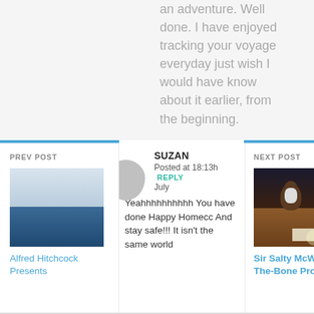an adventure. Well done. I have enjoyed tracking your voyage everyday just wish I would have know about it earlier, from the beginning.
PREV POST
[Figure (photo): Ocean scene with cloudy sky above dark blue sea water]
Alfred Hitchcock Presents
SUZAN
Posted at 18:13h July
REPLY
Yeahhhhhhhhhh You have done Happy Homecoming And stay safe!!! It isn't the same world
NEXT POST
[Figure (photo): A stuffed animal toy (dog or bear) sitting on a wooden desk/surface]
Sir Salty McWorked-To-The-Bone Promoted